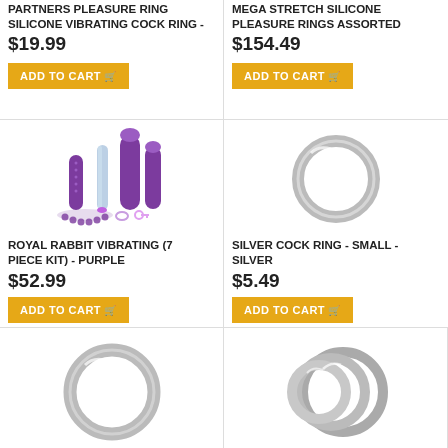PARTNERS PLEASURE RING SILICONE VIBRATING COCK RING - $19.99
[Figure (photo): ADD TO CART button for silicone vibrating cock ring]
MEGA STRETCH SILICONE PLEASURE RINGS ASSORTED $154.49
[Figure (photo): ADD TO CART button for mega stretch silicone pleasure rings]
[Figure (photo): Purple rabbit vibrating 7 piece kit product image showing various purple vibrating attachments and accessories]
ROYAL RABBIT VIBRATING (7 PIECE KIT) - PURPLE
$52.99
ADD TO CART
[Figure (photo): Silver cock ring - small, metallic silver ring on white background]
SILVER COCK RING - SMALL - SILVER
$5.49
ADD TO CART
[Figure (photo): Silver cock ring medium size, metallic silver ring on white background]
[Figure (photo): Triple silver cock ring set, three nested metallic silver rings on white background]